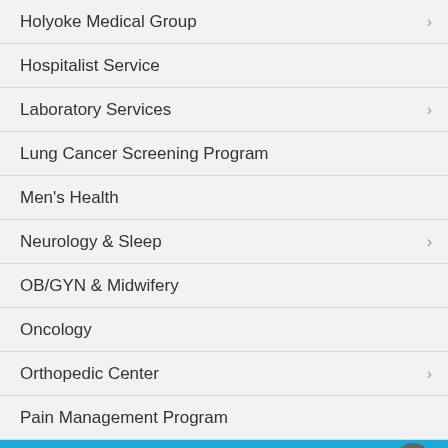Holyoke Medical Group
Hospitalist Service
Laboratory Services
Lung Cancer Screening Program
Men's Health
Neurology & Sleep
OB/GYN & Midwifery
Oncology
Orthopedic Center
Pain Management Program
Pulmonology Center